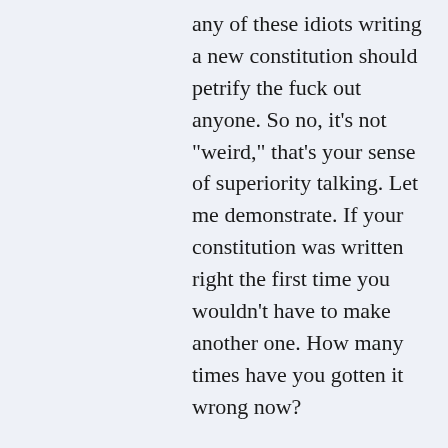any of these idiots writing a new constitution should petrify the fuck out anyone. So no, it’s not “weird,” that’s your sense of superiority talking. Let me demonstrate. If your constitution was written right the first time you wouldn’t have to make another one. How many times have you gotten it wrong now?